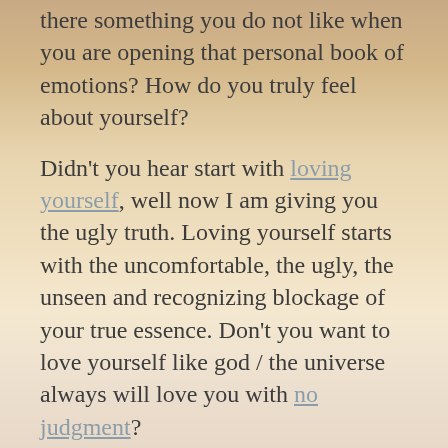there something you do not like when you are opening that personal book of emotions? How do you truly feel about yourself?
Didn't you hear start with loving yourself, well now I am giving you the ugly truth. Loving yourself starts with the uncomfortable, the ugly, the unseen and recognizing blockage of your true essence. Don't you want to love yourself like god / the universe always will love you with no judgment?
Step 2: What are you so afraid of?